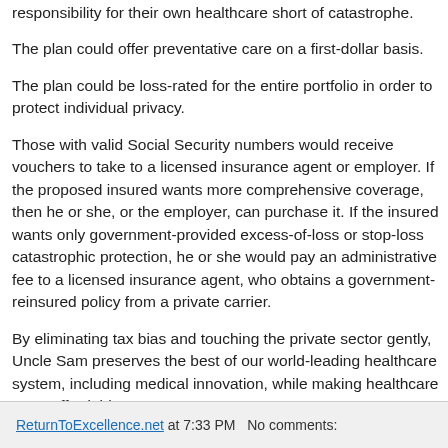responsibility for their own healthcare short of catastrophe.
The plan could offer preventative care on a first-dollar basis.
The plan could be loss-rated for the entire portfolio in order to protect individual privacy.
Those with valid Social Security numbers would receive vouchers to take to a licensed insurance agent or employer. If the proposed insured wants more comprehensive coverage, then he or she, or the employer, can purchase it. If the insured wants only government-provided excess-of-loss or stop-loss catastrophic protection, he or she would pay an administrative fee to a licensed insurance agent, who obtains a government-reinsured policy from a private carrier.
By eliminating tax bias and touching the private sector gently, Uncle Sam preserves the best of our world-leading healthcare system, including medical innovation, while making healthcare more affordable.
ReturnToExcellence.net at 7:33 PM   No comments: